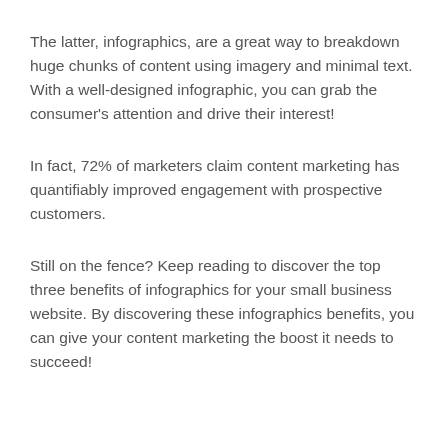The latter, infographics, are a great way to breakdown huge chunks of content using imagery and minimal text. With a well-designed infographic, you can grab the consumer's attention and drive their interest!
In fact, 72% of marketers claim content marketing has quantifiably improved engagement with prospective customers.
Still on the fence? Keep reading to discover the top three benefits of infographics for your small business website. By discovering these infographics benefits, you can give your content marketing the boost it needs to succeed!